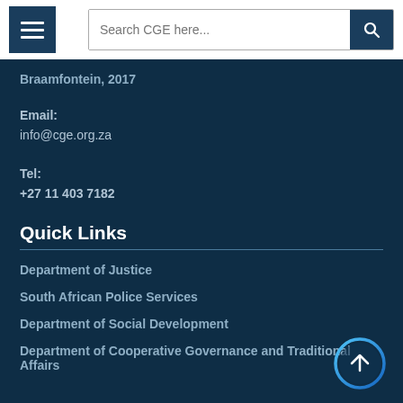Search CGE here...
Braamfontein, 2017
Email:
info@cge.org.za
Tel:
+27 11 403 7182
Quick Links
Department of Justice
South African Police Services
Department of Social Development
Department of Cooperative Governance and Traditional Affairs